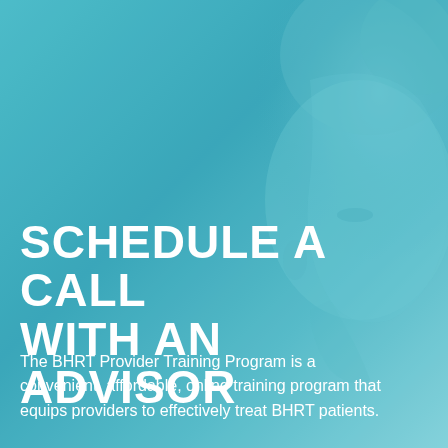[Figure (photo): A teal/cyan-tinted background with a blurred face of a person visible on the right side, creating a professional medical/healthcare aesthetic overlay.]
SCHEDULE A CALL WITH AN ADVISOR
The BHRT Provider Training Program is a convenient, affordable, online training program that equips providers to effectively treat BHRT patients.